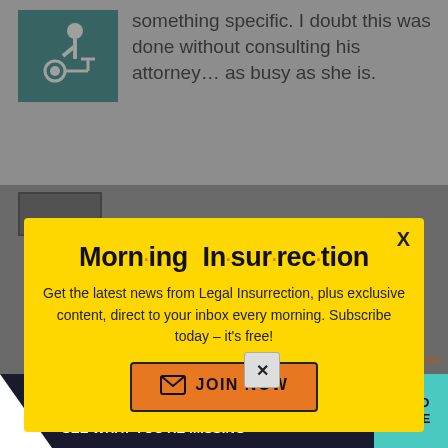something specific. I doubt this was done without consulting his attorney… as busy as she is.
[Figure (infographic): Morning Insurrection newsletter popup modal with yellow background. Contains title 'Morn·ing In·sur·rec·tion', body text about Legal Insurrection newsletter, and orange JOIN NOW button.]
Morn·ing In·sur·rec·tion
Get the latest news from Legal Insurrection, plus exclusive content, direct to your inbox every morning. Subscribe today – it's free!
JOIN NOW
[Figure (infographic): The Perspective advertisement banner at the bottom: 'SEE WHAT YOU'RE MISSING' with READ MORE button]
SEE WHAT YOU'RE MISSING
READ MORE